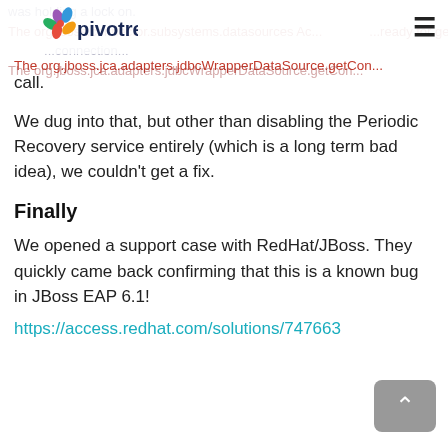[Figure (logo): Pivotree logo with colorful flower/leaf icon and dark blue wordmark 'pivotree']
was holding a lock on.
The org.jboss.connector.subsystems.datasources Ac...
...ready for getting a...
...connection...
The org.jboss.jca.adapters.jdbcWrapperDataSource.getCon... call.
We dug into that, but other than disabling the Periodic Recovery service entirely (which is a long term bad idea), we couldn't get a fix.
Finally
We opened a support case with RedHat/JBoss. They quickly came back confirming that this is a known bug in JBoss EAP 6.1!
https://access.redhat.com/solutions/747663